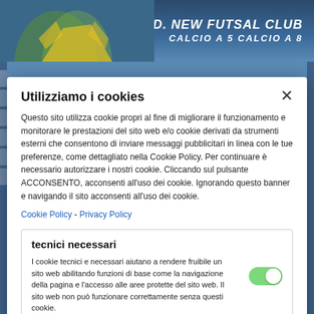[Figure (screenshot): Website header banner for A.S.D. New Futsal Club with soccer/futsal player photo background]
A.S.D. NEW FUTSAL CLUB
CALCIO A 5 CALCIO A 8
Utilizziamo i cookies
Questo sito utilizza cookie propri al fine di migliorare il funzionamento e monitorare le prestazioni del sito web e/o cookie derivati da strumenti esterni che consentono di inviare messaggi pubblicitari in linea con le tue preferenze, come dettagliato nella Cookie Policy. Per continuare è necessario autorizzare i nostri cookie. Cliccando sul pulsante ACCONSENTO, acconsenti all'uso dei cookie. Ignorando questo banner e navigando il sito acconsenti all'uso dei cookie.
Cookie Policy - Privacy Policy
tecnici necessari
I cookie tecnici e necessari aiutano a rendere fruibile un sito web abilitando funzioni di base come la navigazione della pagina e l'accesso alle aree protette del sito web. Il sito web non può funzionare correttamente senza questi cookie.
ACCETTA I COOKIES